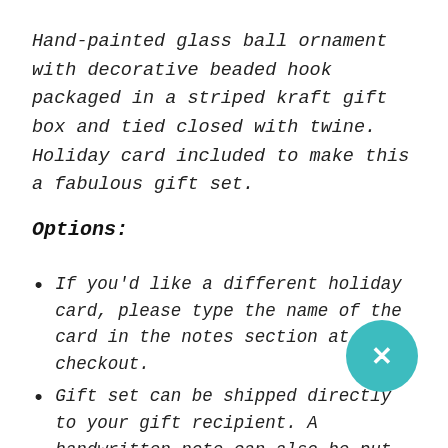Hand-painted glass ball ornament with decorative beaded hook packaged in a striped kraft gift box and tied closed with twine. Holiday card included to make this a fabulous gift set.
Options:
If you'd like a different holiday card, please type the name of the card in the notes section at checkout.
Gift set can be shipped directly to your gift recipient. A handwritten note can also be put inside the card. Please specify in the notes section at checkout